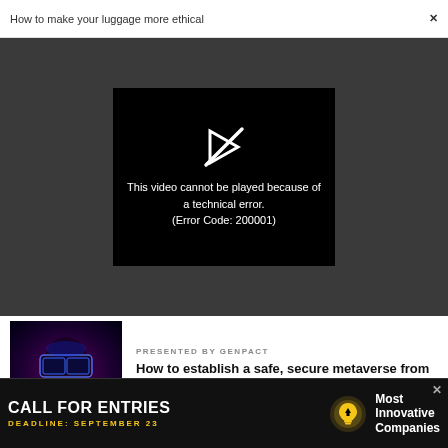How to make your luggage more ethical ×
[Figure (screenshot): Video player showing black error screen with broken play icon and text: This video cannot be played because of a technical error. (Error Code: 200001)]
This video cannot be played because of a technical error. (Error Code: 200001)
[Figure (photo): Neon-lit portrait photo of person wearing VR/tech headset with blue and red lighting]
PRESENTED BY GENPACT
How to establish a safe, secure metaverse from the ground up
[Figure (screenshot): Advertisement banner: CALL FOR ENTRIES - DEADLINE: SEPTEMBER 23 - Most Innovative Companies with lightbulb icon]